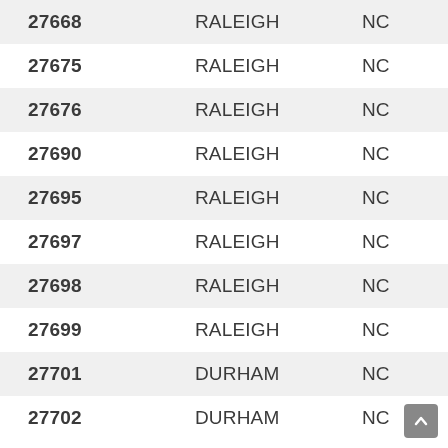| ZIP | CITY | STATE |
| --- | --- | --- |
| 27668 | RALEIGH | NC |
| 27675 | RALEIGH | NC |
| 27676 | RALEIGH | NC |
| 27690 | RALEIGH | NC |
| 27695 | RALEIGH | NC |
| 27697 | RALEIGH | NC |
| 27698 | RALEIGH | NC |
| 27699 | RALEIGH | NC |
| 27701 | DURHAM | NC |
| 27702 | DURHAM | NC |